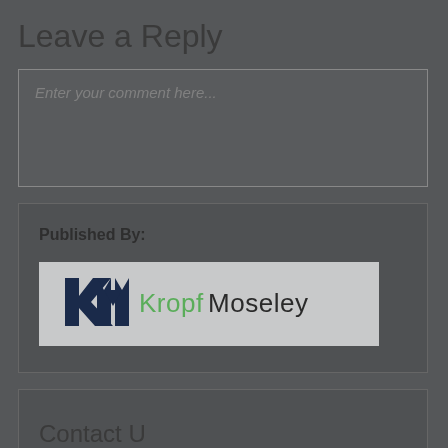Leave a Reply
Enter your comment here...
Published By:
[Figure (logo): Kropf Moseley law firm logo with KM monogram icon in dark navy and a light grey background. Text reads 'Kropf Moseley' with 'Kropf' in green and 'Moseley' in dark grey.]
Contact U...